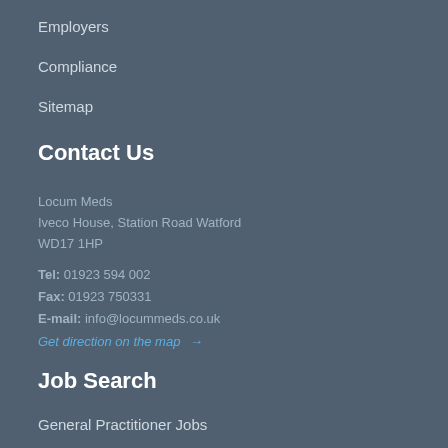Employers
Compliance
Sitemap
Contact Us
Locum Meds
Iveco House, Station Road Watford
WD17 1HP
Tel: 01923 594 002
Fax: 01923 750331
E-mail: info@locummeds.co.uk
Get direction on the map →
Job Search
General Practitioner Jobs